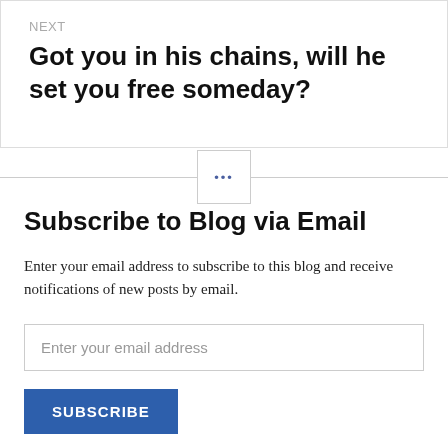NEXT
Got you in his chains, will he set you free someday?
[Figure (other): Horizontal divider line with a small square box in the center containing three blue dots (ellipsis)]
Subscribe to Blog via Email
Enter your email address to subscribe to this blog and receive notifications of new posts by email.
Enter your email address
SUBSCRIBE